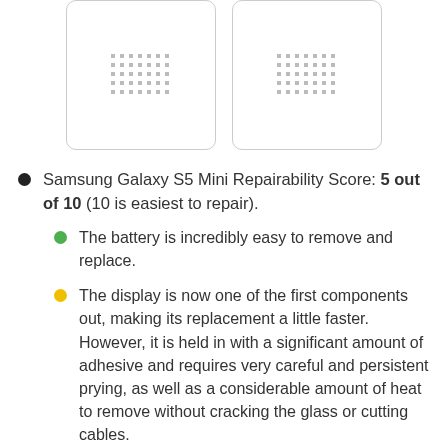[Figure (photo): Two placeholder image boxes with dot-grid pattern icons, side by side]
Samsung Galaxy S5 Mini Repairability Score: 5 out of 10 (10 is easiest to repair).
The battery is incredibly easy to remove and replace.
The display is now one of the first components out, making its replacement a little faster. However, it is held in with a significant amount of adhesive and requires very careful and persistent prying, as well as a considerable amount of heat to remove without cracking the glass or cutting cables.
Once you get the device open, several components are modular and fairly easy to